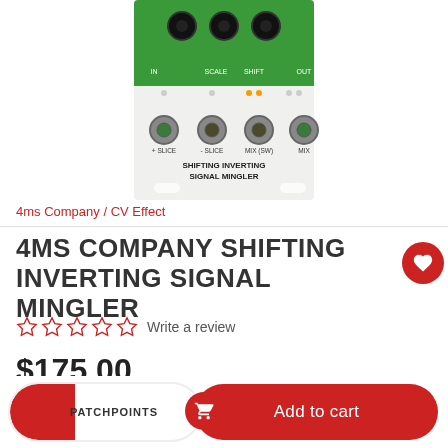[Figure (photo): Photo of the 4ms Company Shifting Inverting Signal Mingler eurorack module, showing green top panel with knobs labeled SCALE and SHIFT, and bottom white panel with jacks labeled +SLICE, -SLICE, MIX (SW), MIX, with text SHIFTING INVERTING SIGNAL MINGLER]
4ms Company / CV Effect
4MS COMPANY SHIFTING INVERTING SIGNAL MINGLER
Write a review
$175.00
PATCHPOINTS
Add to cart